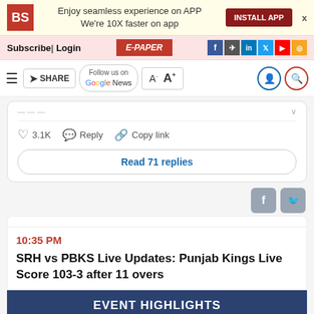Enjoy seamless experience on APP We're 10X faster on app | INSTALL APP
Subscribe | Login | E-PAPER
SHARE | Follow us on Google News | A- A+
[Figure (screenshot): Comment section showing 3.1K likes, Reply, Copy link actions and Read 71 replies button]
10:35 PM
SRH vs PBKS Live Updates: Punjab Kings Live Score 103-3 after 11 overs
EVENT HIGHLIGHTS